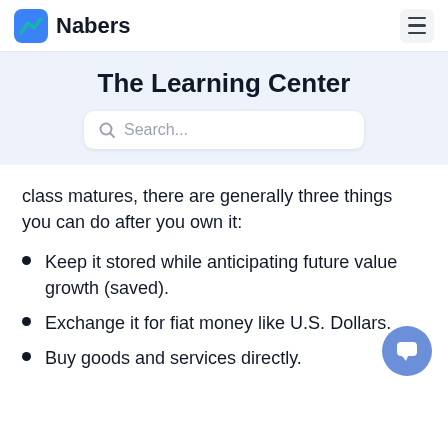Nabers
The Learning Center
class matures, there are generally three things you can do after you own it:
Keep it stored while anticipating future value growth (saved).
Exchange it for fiat money like U.S. Dollars.
Buy goods and services directly.